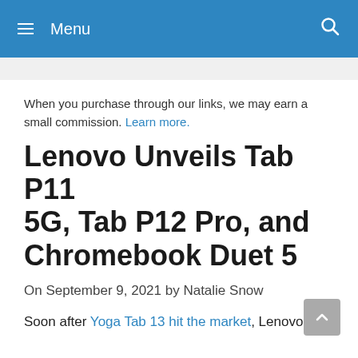≡ Menu
When you purchase through our links, we may earn a small commission. Learn more.
Lenovo Unveils Tab P11 5G, Tab P12 Pro, and Chromebook Duet 5
On September 9, 2021 by Natalie Snow
Soon after Yoga Tab 13 hit the market, Lenovo